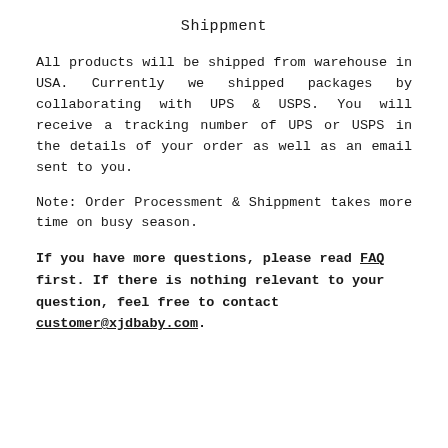Shippment
All products will be shipped from warehouse in USA. Currently we shipped packages by collaborating with UPS & USPS. You will receive a tracking number of UPS or USPS in the details of your order as well as an email sent to you.
Note: Order Processment & Shippment takes more time on busy season.
If you have more questions, please read FAQ first. If there is nothing relevant to your question, feel free to contact customer@xjdbaby.com.